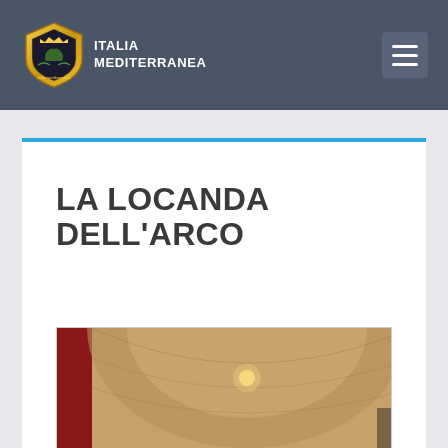Italia Mediterranea
LA LOCANDA DELL'ARCO
[Figure (photo): Interior of La Locanda dell'Arco restaurant showing arched stone ceiling, white-cloth tables, red walls, and warm lighting. A label overlay reads 'La Locanda dell'Arco' with the Italia Mediterranea logo badge.]